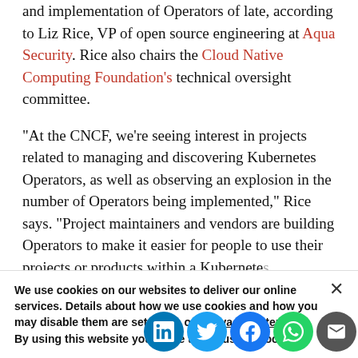and implementation of Operators of late, according to Liz Rice, VP of open source engineering at Aqua Security. Rice also chairs the Cloud Native Computing Foundation's technical oversight committee.
“At the CNCF, we’re seeing interest in projects related to managing and discovering Kubernetes Operators, as well as observing an explosion in the number of Operators being implemented,” Rice says. “Project maintainers and vendors are building Operators to make it easier for people to use their projects or products within a Kubernetes
This growing ment need for a, well, m
We use cookies on our websites to deliver our online services. Details about how we use cookies and how you may disable them are set out in our Privacy Statement. By using this website you agree to our use of cookies.